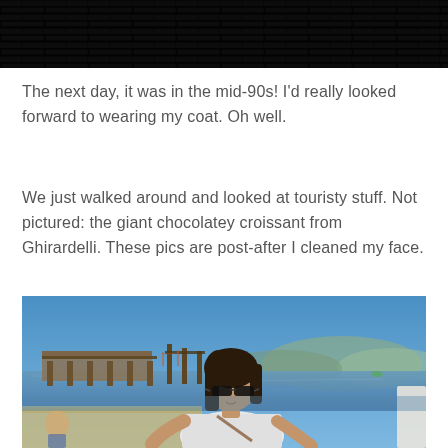[Figure (photo): Dark photograph of a brick or tile ceiling/roof interior, appearing very dark with subtle texture]
The next day, it was in the mid-90s! I'd really looked forward to wearing my coat. Oh well.
We just walked around and looked at touristy stuff. Not pictured: the giant chocolatey croissant from Ghirardelli. These pics are post-after I cleaned my face.
[Figure (photo): Outdoor photo of a young woman with dark hair and sunglasses wearing a white t-shirt, sitting near a waterfront with a pier, bay water, hills, and blue sky in the background — likely San Francisco waterfront near Ghirardelli]